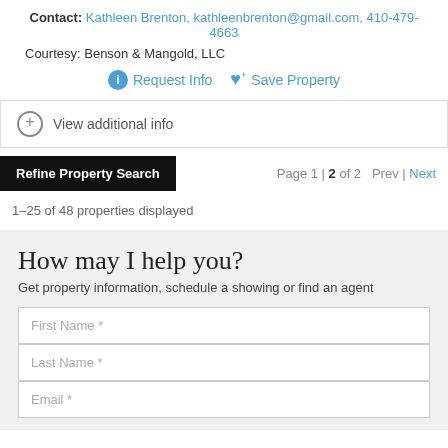Contact: Kathleen Brenton, kathleenbrenton@gmail.com, 410-479-4663
Courtesy: Benson & Mangold, LLC
Request Info   Save Property
View additional info
Refine Property Search   Page 1 | 2 of 2   Prev | Next
1–25 of 48 properties displayed
How may I help you?
Get property information, schedule a showing or find an agent
First Name *
Last Name *
Email *